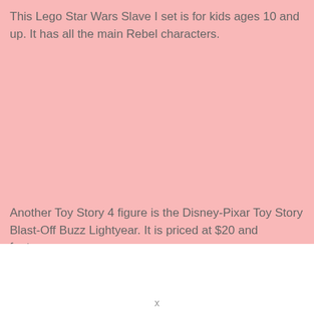This Lego Star Wars Slave I set is for kids ages 10 and up. It has all the main Rebel characters.
Another Toy Story 4 figure is the Disney-Pixar Toy Story Blast-Off Buzz Lightyear. It is priced at $20 and features